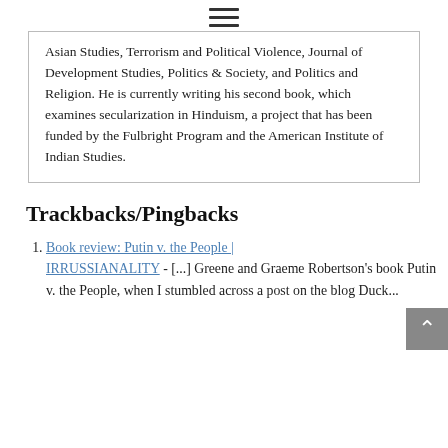≡
Asian Studies, Terrorism and Political Violence, Journal of Development Studies, Politics & Society, and Politics and Religion. He is currently writing his second book, which examines secularization in Hinduism, a project that has been funded by the Fulbright Program and the American Institute of Indian Studies.
Trackbacks/Pingbacks
Book review: Putin v. the People | IRRUSSIANALITY - [...] Greene and Graeme Robertson's book Putin v. the People, when I stumbled across a post on the blog Duck...